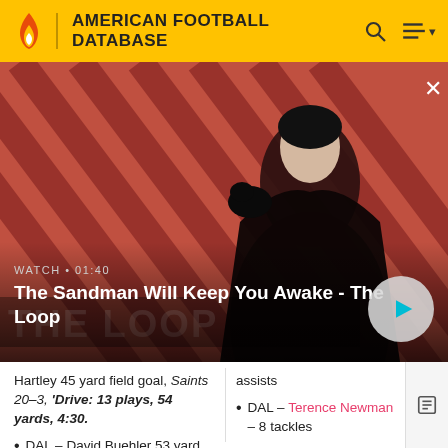AMERICAN FOOTBALL DATABASE
[Figure (screenshot): Video banner showing 'The Sandman Will Keep You Awake - The Loop' with a dark-cloaked figure and a raven against a red striped background. Label: WATCH • 01:40 with a play button.]
Hartley 45 yard field goal, Saints 20-3, 'Drive: 13 plays, 54 yards, 4:30.
DAL – David Buehler 53 yard field goal, Saints
assists
DAL – Terence Newman – 8 tackles